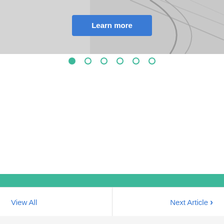[Figure (screenshot): Product image partially visible at top, showing a metallic/chrome object on light background with a blue 'Learn more' button overlay]
[Figure (infographic): Carousel navigation dots: one filled teal dot (active) and five empty teal circle dots]
browse PING bags
view now
View All
Next Article
Related Content